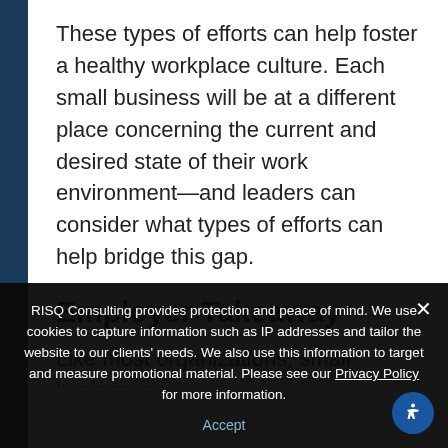These types of efforts can help foster a healthy workplace culture. Each small business will be at a different place concerning the current and desired state of their work environment—and leaders can consider what types of efforts can help bridge this gap.
Employer Takeaway
Like most organizations, small businesses
RISQ Consulting provides protection and peace of mind. We use cookies to capture information such as IP addresses and tailor the website to our clients' needs. We also use this information to target and measure promotional material. Please see our Privacy Policy for more information.
Accept